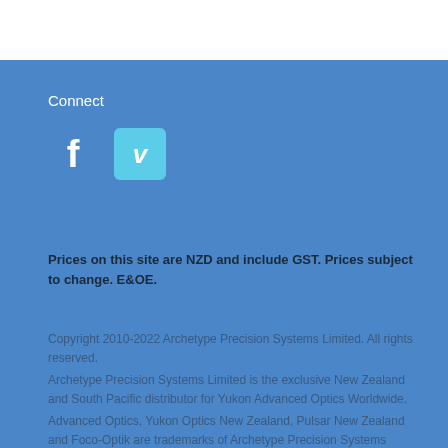Connect
[Figure (logo): Facebook and Vimeo social media icons: a white 'f' letter for Facebook, and a light-blue rounded rectangle with white italic 'v' for Vimeo]
Prices on this site are NZD and include GST. Prices subject to change. E&OE.
Copyright 2010-2022 Archetype Precision Systems Limited. All rights reserved.
Archetype Precision Systems Limited is the exclusive New Zealand and South Pacific distributor for Yukon Advanced Optics Worldwide.
Advanced Optics, Yukon Optics New Zealand, Pulsar New Zealand and Foco-Optik are trademarks of Archetype Precision Systems Limited.